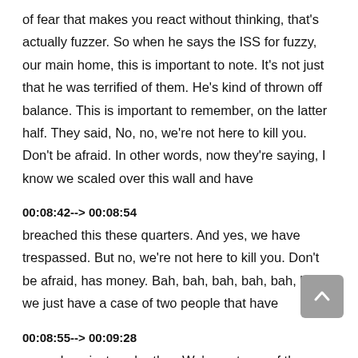of fear that makes you react without thinking, that's actually fuzzer. So when he says the ISS for fuzzy, our main home, this is important to note. It's not just that he was terrified of them. He's kind of thrown off balance. This is important to remember, on the latter half. They said, No, no, we're not here to kill you. Don't be afraid. In other words, now they're saying, I know we scaled over this wall and have
00:08:42--> 00:08:54
breached this these quarters. And yes, we have trespassed. But no, we're not here to kill you. Don't be afraid, has money. Bah, bah, bah, bah, bah, look, we just have a case of two people that have
00:08:55--> 00:09:28
argued against each other. We've got one of them has violated the other's rights, we actually have a criminal case we wanted to, for you